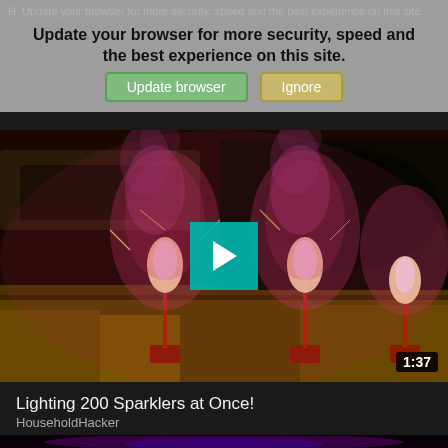H Update your browser for more security, speed and the best experience on this site.
Update browser | Ignore
[Figure (screenshot): Video thumbnail showing three sparklers/fountains shooting bright pink/white sparks and colored smoke against a dark outdoor background. A teal play button is centered on the image. Duration badge shows 1:37.]
Lighting 200 Sparklers at Once!
HouseholdHacker
[Figure (photo): Partial video thumbnail showing a close-up of a glow stick or similar luminous object with pink/purple hues and an orange element, against a dark background.]